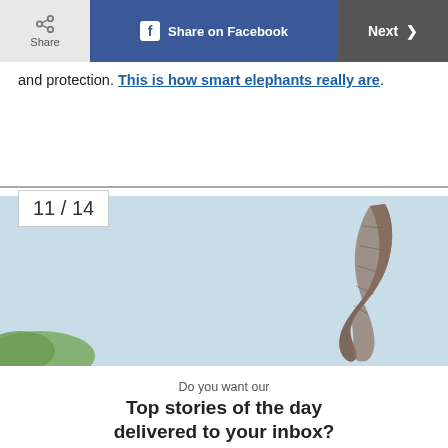Share | Share on Facebook | Next >
and protection. This is how smart elephants really are.
11 / 14
[Figure (photo): Close-up of an elephant trunk raised against a light blue sky, with green foliage visible at the lower left.]
Do you want our
Top stories of the day delivered to your inbox?
YES PLEASE!
NO THANKS